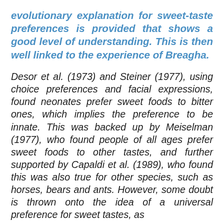evolutionary explanation for sweet-taste preferences is provided that shows a good level of understanding. This is then well linked to the experience of Breagha.
Desor et al. (1973) and Steiner (1977), using choice preferences and facial expressions, found neonates prefer sweet foods to bitter ones, which implies the preference to be innate. This was backed up by Meiselman (1977), who found people of all ages prefer sweet foods to other tastes, and further supported by Capaldi et al. (1989), who found this was also true for other species, such as horses, bears and ants. However, some doubt is thrown onto the idea of a universal preference for sweet tastes, as